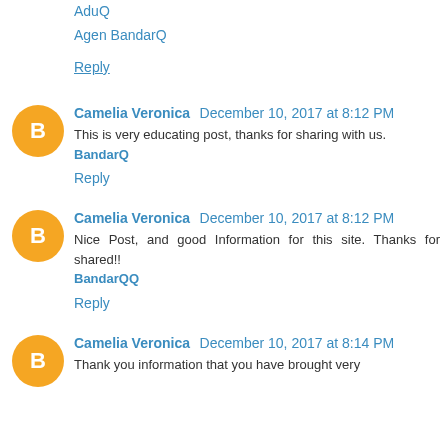AduQ
Agen BandarQ
Reply
Camelia Veronica  December 10, 2017 at 8:12 PM
This is very educating post, thanks for sharing with us.
BandarQ
Reply
Camelia Veronica  December 10, 2017 at 8:12 PM
Nice Post, and good Information for this site. Thanks for shared!!
BandarQQ
Reply
Camelia Veronica  December 10, 2017 at 8:14 PM
Thank you information that you have brought very...